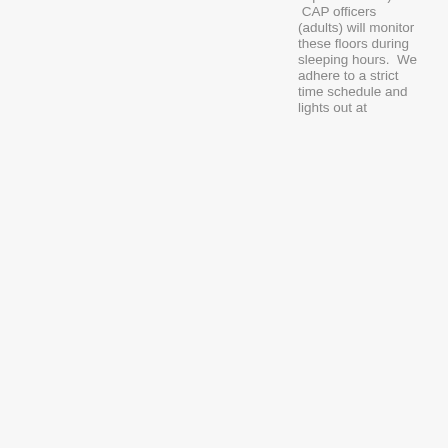separate floors).  CAP officers (adults) will monitor these floors during sleeping hours.  We adhere to a strict time schedule and lights out at